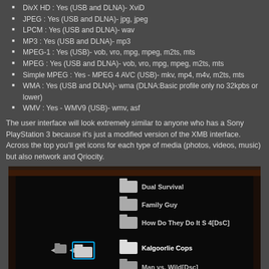DivX HD : Yes (USB and DLNA)- XviD
JPEG : Yes (USB and DLNA)- jpg, jpeg
LPCM : Yes (USB and DLNA)- wav
MP3 : Yes (USB and DLNA)- mp3
MPEG-1 : Yes (USB)- vob, vro, mpg, mpeg, m2ts, mts
MPEG : Yes (USB and DLNA)- vob, vro, mpg, mpeg, m2ts, mts
Simple MPEG : Yes - MPEG 4 AVC (USB)- mkv, mp4, m4v, m2ts, mts
WMA : Yes (USB and DLNA)- wma (DLNA:Basic profile only no 32kpbs or lower)
WMV : Yes - WMV9 (USB)- wmv, asf
The user interface will look extremely similar to anyone who has a Sony PlayStation 3 because it's just a modified version of the XMB interface. Across the top you'll get icons for each type of media (photos, videos, music) but also network and Qriocity.
[Figure (screenshot): Screenshot of a Sony XMB-style media interface on a TV screen showing a list of video folders: Dual Survival, Family Guy, How Do They Do It S 4[DsC], Kalgoorlie Cops (selected/highlighted), Man vs. Wild[Dsc], Mythbusters[DsC], and a partially visible item below. The selected folder has a blue highlight box. A blue gradient glow appears at the bottom of the screen.]